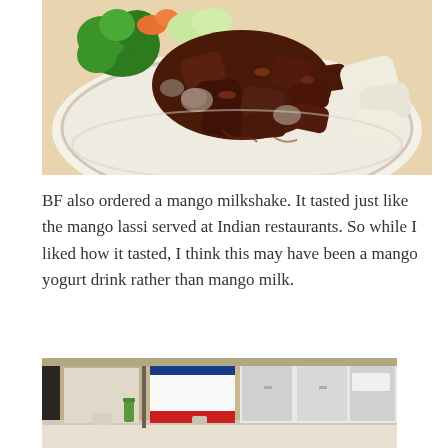[Figure (photo): A plate of stir-fried beef with mushrooms, onions, and broccoli on a white plate]
BF also ordered a mango milkshake. It tasted just like the mango lassi served at Indian restaurants. So while I liked how it tasted, I think this may have been a mango yogurt drink rather than mango milk.
[Figure (photo): Interior of a restaurant showing a counter with menus and refrigerators in the background]